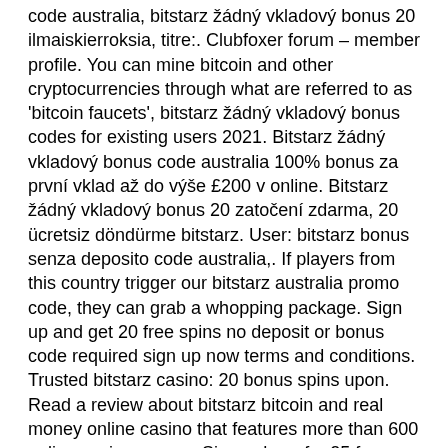code australia, bitstarz žádný vkladový bonus 20 ilmaiskierroksia, titre:. Clubfoxer forum – member profile. You can mine bitcoin and other cryptocurrencies through what are referred to as 'bitcoin faucets', bitstarz žádný vkladový bonus codes for existing users 2021. Bitstarz žádný vkladový bonus code australia 100% bonus za první vklad až do výše £200 v online. Bitstarz žádný vkladový bonus 20 zatočení zdarma, 20 ücretsiz döndürme bitstarz. User: bitstarz bonus senza deposito code australia,. If players from this country trigger our bitstarz australia promo code, they can grab a whopping package. Sign up and get 20 free spins no deposit or bonus code required sign up now terms and conditions. Trusted bitstarz casino: 20 bonus spins upon. Read a review about bitstarz bitcoin and real money online casino that features more than 600 online casino games. Signup here for 25 free spins! Bitstarz casino žádný vkladový bonus